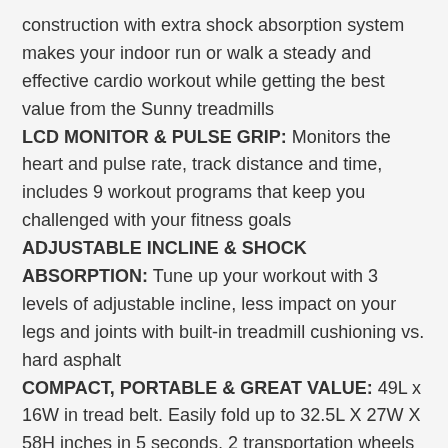construction with extra shock absorption system makes your indoor run or walk a steady and effective cardio workout while getting the best value from the Sunny treadmills
LCD MONITOR & PULSE GRIP: Monitors the heart and pulse rate, track distance and time, includes 9 workout programs that keep you challenged with your fitness goals
ADJUSTABLE INCLINE & SHOCK ABSORPTION: Tune up your workout with 3 levels of adjustable incline, less impact on your legs and joints with built-in treadmill cushioning vs. hard asphalt
COMPACT, PORTABLE & GREAT VALUE: 49L x 16W in tread belt. Easily fold up to 32.5L X 27W X 58H inches in 5 seconds, 2 transportation wheels make it easier than ever to move this treadmill without damaging your floors